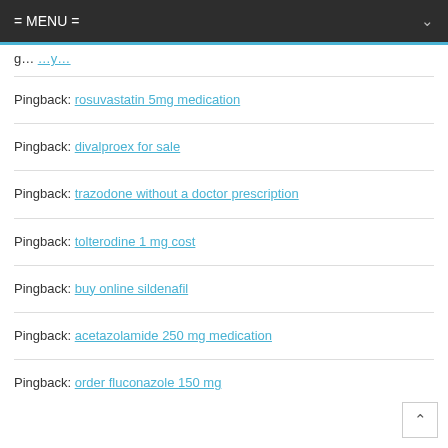= MENU =
Pingback: rosuvastatin 5mg medication
Pingback: divalproex for sale
Pingback: trazodone without a doctor prescription
Pingback: tolterodine 1 mg cost
Pingback: buy online sildenafil
Pingback: acetazolamide 250 mg medication
Pingback: order fluconazole 150 mg